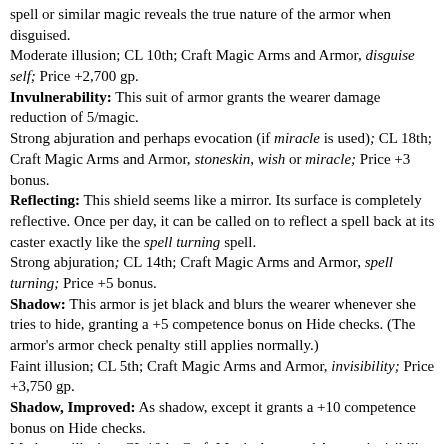spell or similar magic reveals the true nature of the armor when disguised.
Moderate illusion; CL 10th; Craft Magic Arms and Armor, disguise self; Price +2,700 gp.
Invulnerability: This suit of armor grants the wearer damage reduction of 5/magic.
Strong abjuration and perhaps evocation (if miracle is used); CL 18th; Craft Magic Arms and Armor, stoneskin, wish or miracle; Price +3 bonus.
Reflecting: This shield seems like a mirror. Its surface is completely reflective. Once per day, it can be called on to reflect a spell back at its caster exactly like the spell turning spell.
Strong abjuration; CL 14th; Craft Magic Arms and Armor, spell turning; Price +5 bonus.
Shadow: This armor is jet black and blurs the wearer whenever she tries to hide, granting a +5 competence bonus on Hide checks. (The armor's armor check penalty still applies normally.)
Faint illusion; CL 5th; Craft Magic Arms and Armor, invisibility; Price +3,750 gp.
Shadow, Improved: As shadow, except it grants a +10 competence bonus on Hide checks.
Moderate illusion; CL 10th; Craft Magic Arms and Armor, invisibility; Price +15,000 gp.
Shadow, Greater: As shadow, except it grants a +15 competence bonus on Hide checks.